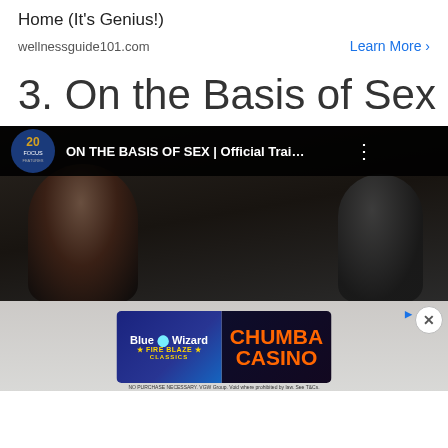Home (It's Genius!)
wellnessguide101.com
Learn More >
3. On the Basis of Sex
[Figure (screenshot): YouTube video thumbnail for 'ON THE BASIS OF SEX | Official Trai...' showing a dark-toned scene with a woman's face in profile, on a black background with the 20 Focus Features logo.]
[Figure (screenshot): Advertisement overlay showing a 'Blue Wizard Fire Blaze Classics' casino game ad for Chumba Casino on a semi-transparent grey background with a close (X) button.]